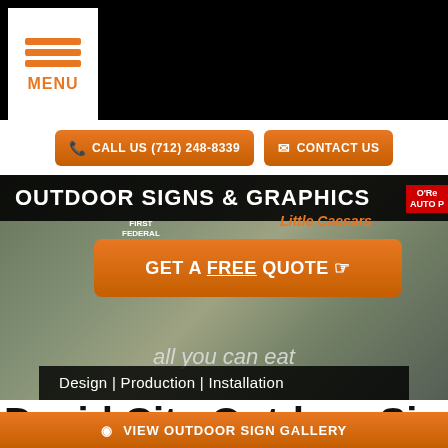MENU
CALL US (712) 248-8339
CONTACT US
OUTDOOR SIGNS & GRAPHICS
GET A FREE QUOTE
all you can eat
Design | Production | Installation
David City Outdoor Signs
VIEW OUTDOOR SIGN GALLERY